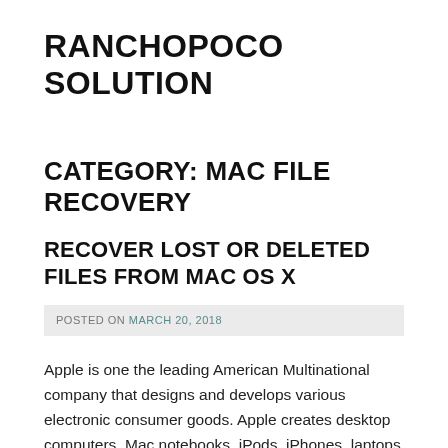RANCHOPOCO SOLUTION
CATEGORY: MAC FILE RECOVERY
RECOVER LOST OR DELETED FILES FROM MAC OS X
POSTED ON MARCH 20, 2018
Apple is one the leading American Multinational company that designs and develops various electronic consumer goods. Apple creates desktop computers, Mac notebooks, iPods,  iPhones, laptops etc. In Apple computers you are using Mac OS x as operating systems, you will store lots of files like documents,